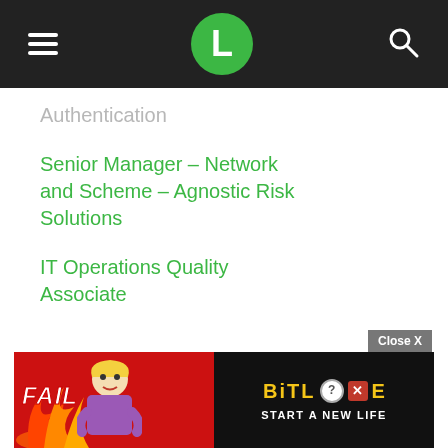L
Authentication
Senior Manager – Network and Scheme – Agnostic Risk Solutions
IT Operations Quality Associate
[Figure (screenshot): Advertisement banner for BitLife mobile game with 'FAIL' text, cartoon character, flames, and 'START A NEW LIFE' tagline on red background]